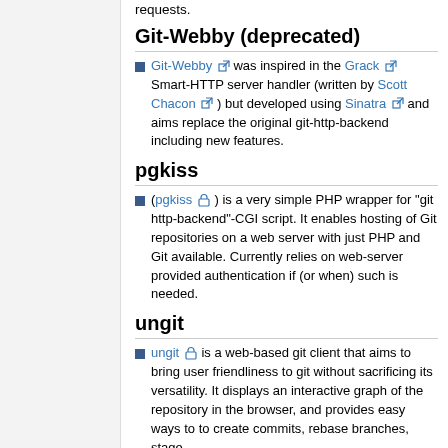requests.
Git-Webby (deprecated)
Git-Webby was inspired in the Grack Smart-HTTP server handler (written by Scott Chacon) but developed using Sinatra and aims replace the original git-http-backend including new features.
pgkiss
(pgkiss) is a very simple PHP wrapper for "git http-backend"-CGI script. It enables hosting of Git repositories on a web server with just PHP and Git available. Currently relies on web-server provided authentication if (or when) such is needed.
ungit
ungit is a web-based git client that aims to bring user friendliness to git without sacrificing its versatility. It displays an interactive graph of the repository in the browser, and provides easy ways to to create commits, rebase branches, stage